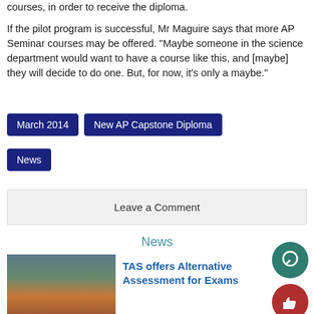courses, in order to receive the diploma.
If the pilot program is successful, Mr Maguire says that more AP Seminar courses may be offered. “Maybe someone in the science department would want to have a course like this, and [maybe] they will decide to do one. But, for now, it’s only a maybe.”
March 2014
New AP Capstone Diploma
News
Leave a Comment
News
[Figure (photo): Exterior photo of a school building with brick walls and a sign]
TAS offers Alternative Assessment for Exams